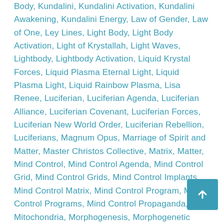Body, Kundalini, Kundalini Activation, Kundalini Awakening, Kundalini Energy, Law of Gender, Law of One, Ley Lines, Light Body, Light Body Activation, Light of Krystallah, Light Waves, Lightbody, Lightbody Activation, Liquid Krystal Forces, Liquid Plasma Eternal Light, Liquid Plasma Light, Liquid Rainbow Plasma, Lisa Renee, Luciferian, Luciferian Agenda, Luciferian Alliance, Luciferian Covenant, Luciferian Forces, Luciferian New World Order, Luciferian Rebellion, Luciferians, Magnum Opus, Marriage of Spirit and Matter, Master Christos Collective, Matrix, Matter, Mind Control, Mind Control Agenda, Mind Control Grid, Mind Control Grids, Mind Control Implants, Mind Control Matrix, Mind Control Program, Mind Control Programs, Mind Control Propaganda, Mitochondria, Morphogenesis, Morphogenetic Blueprints, Morphogenetic Field, Morphogentic Fields, Mother Arc, Mother Arc Hubs, Mother Earth, Mother of God, Mother Principle, NAA Slave Programs, NEEC (New Elemental Earth Command), Negative Alien Agenda, Negative Programming, Neutral Field, New Earth, New Earth Elemental Command, New Earth Skywatch,
[Figure (other): Scroll-to-top button, teal colored square with upward arrow icon]